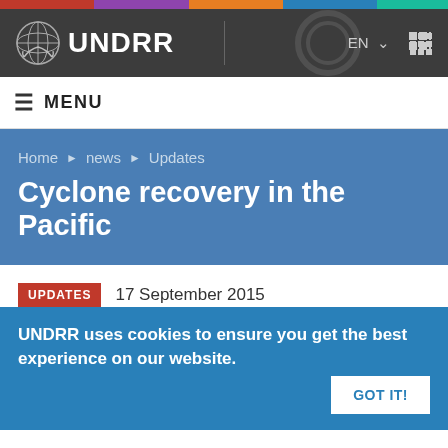[Figure (logo): UNDRR website screenshot header with UN emblem logo and UNDRR text, language selector EN, and grid icon]
≡  MENU
Cyclone recovery in the Pacific
Home ▶ news ▶ Updates
UPDATES   17 September 2015
UNDRR uses cookies to ensure you get the best experience on our website.